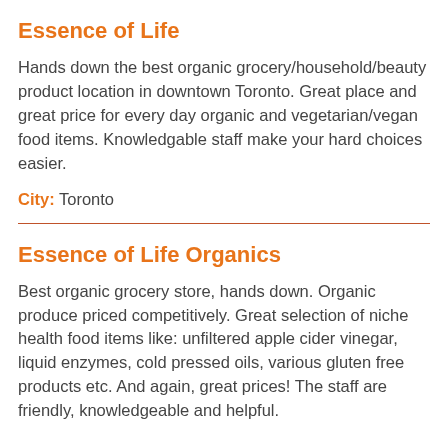Essence of Life
Hands down the best organic grocery/household/beauty product location in downtown Toronto. Great place and great price for every day organic and vegetarian/vegan food items. Knowledgable staff make your hard choices easier.
City: Toronto
Essence of Life Organics
Best organic grocery store, hands down. Organic produce priced competitively. Great selection of niche health food items like: unfiltered apple cider vinegar, liquid enzymes, cold pressed oils, various gluten free products etc. And again, great prices! The staff are friendly, knowledgeable and helpful.